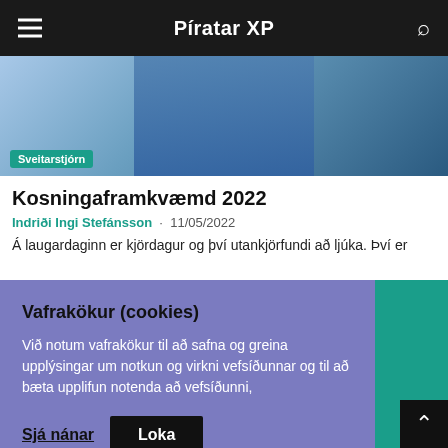Píratar XP
[Figure (photo): Person in blue suit jacket, partially visible, hero image for article]
Sveitarstjórn
Kosningaframkvæmd 2022
Indriði Ingi Stefánsson · 11/05/2022
Á laugardaginn er kjördagur og því utankjörfundi að ljúka. Því er
Vafrakökur (cookies)
Við notum vafrakökur til að safna og greina upplýsingar um notkun og virkni vefsíðunnar og til að bæta upplifun notenda að vefsíðunni,
Sjá nánar   Loka